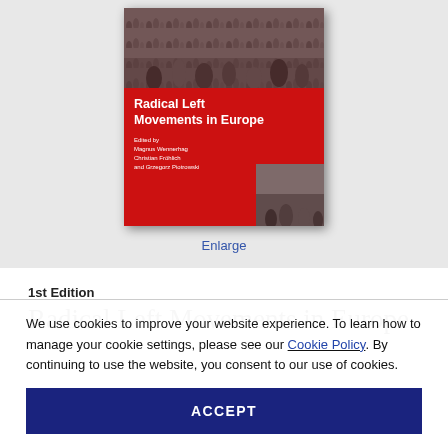[Figure (illustration): Book cover of 'Radical Left Movements in Europe' edited by Magnus Wennerhag, Christian Fröhlich, and Grzegorz Piotrowski. Red cover with black-and-white protest photos. Below the cover image is an 'Enlarge' link.]
1st Edition
Radical Left Movements in Europe
We use cookies to improve your website experience. To learn how to manage your cookie settings, please see our Cookie Policy. By continuing to use the website, you consent to our use of cookies.
ACCEPT